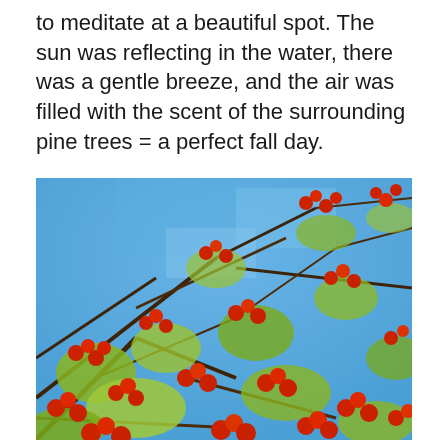to meditate at a beautiful spot. The sun was reflecting in the water, there was a gentle breeze, and the air was filled with the scent of the surrounding pine trees = a perfect fall day.
[Figure (photo): A photo taken looking up at tree branches covered with clusters of red berries and green-yellow leaves against a clear blue sky, suggesting a fall day.]